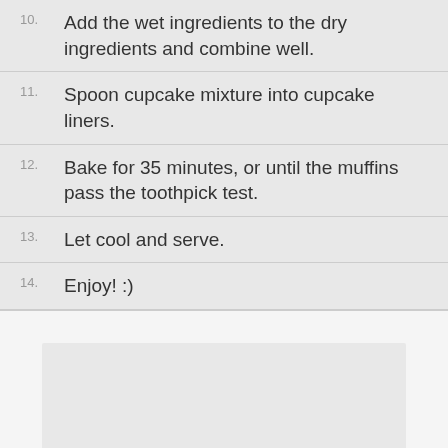10. Add the wet ingredients to the dry ingredients and combine well.
11. Spoon cupcake mixture into cupcake liners.
12. Bake for 35 minutes, or until the muffins pass the toothpick test.
13. Let cool and serve.
14. Enjoy! :)